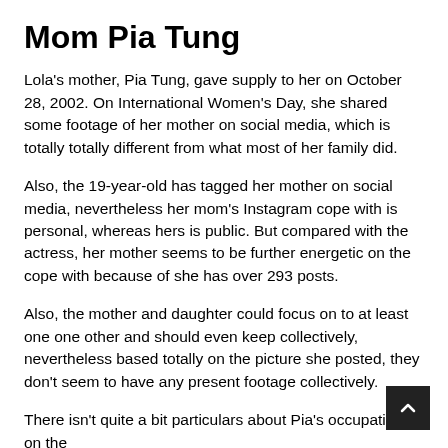Mom Pia Tung
Lola's mother, Pia Tung, gave supply to her on October 28, 2002. On International Women's Day, she shared some footage of her mother on social media, which is totally totally different from what most of her family did.
Also, the 19-year-old has tagged her mother on social media, nevertheless her mom's Instagram cope with is personal, whereas hers is public. But compared with the actress, her mother seems to be further energetic on the cope with because of she has over 293 posts.
Also, the mother and daughter could focus on to at least one one other and should even keep collectively, nevertheless based totally on the picture she posted, they don't seem to have any present footage collectively.
There isn't quite a bit particulars about Pia's occupation on the